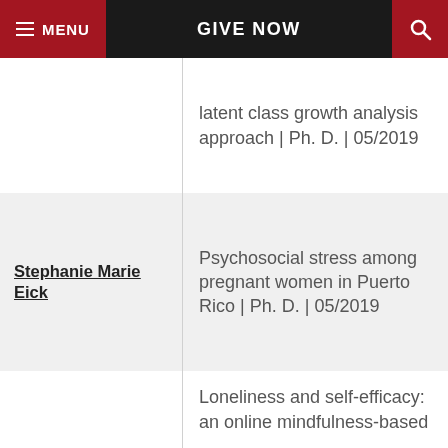MENU | GIVE NOW
latent class growth analysis approach | Ph. D. | 05/2019
Stephanie Marie Eick
Psychosocial stress among pregnant women in Puerto Rico | Ph. D. | 05/2019
Loneliness and self-efficacy: an online mindfulness-based